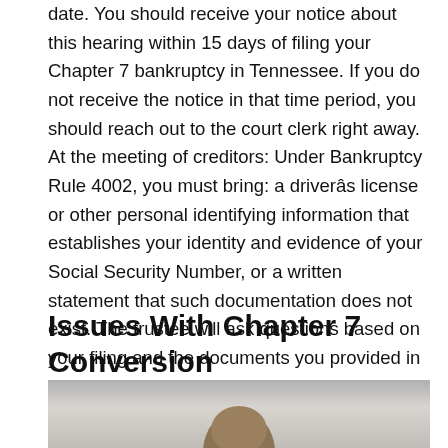date. You should receive your notice about this hearing within 15 days of filing your Chapter 7 bankruptcy in Tennessee. If you do not receive the notice in that time period, you should reach out to the court clerk right away. At the meeting of creditors: Under Bankruptcy Rule 4002, you must bring: a driverâs license or other personal identifying information that establishes your identity and evidence of your Social Security Number, or a written statement that such documentation does not exist. The trustee will ask questions based on your filing and the documents you provided in advance to establish that the information is true and accurate.
Issues With Chapter 7 Conversion
[Figure (photo): Partial photo of a person, showing the top of their head with light brown hair, cropped at the bottom of the page.]